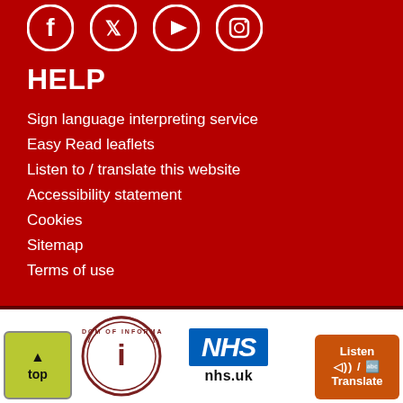[Figure (illustration): Social media icons: Facebook, Twitter, YouTube, Instagram in white circles on dark red background]
HELP
Sign language interpreting service
Easy Read leaflets
Listen to / translate this website
Accessibility statement
Cookies
Sitemap
Terms of use
[Figure (logo): Freedom of Information circular logo with i symbol]
[Figure (logo): NHS logo in blue box with nhs.uk text below]
[Figure (other): Listen / Translate button in orange]
[Figure (other): Top navigation button in yellow-green]